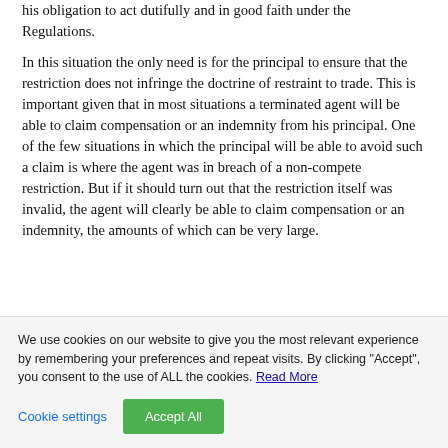his obligation to act dutifully and in good faith under the Regulations.
In this situation the only need is for the principal to ensure that the restriction does not infringe the doctrine of restraint to trade. This is important given that in most situations a terminated agent will be able to claim compensation or an indemnity from his principal. One of the few situations in which the principal will be able to avoid such a claim is where the agent was in breach of a non-compete restriction. But if it should turn out that the restriction itself was invalid, the agent will clearly be able to claim compensation or an indemnity, the amounts of which can be very large.
We use cookies on our website to give you the most relevant experience by remembering your preferences and repeat visits. By clicking "Accept", you consent to the use of ALL the cookies. Read More
Cookie settings | Accept All